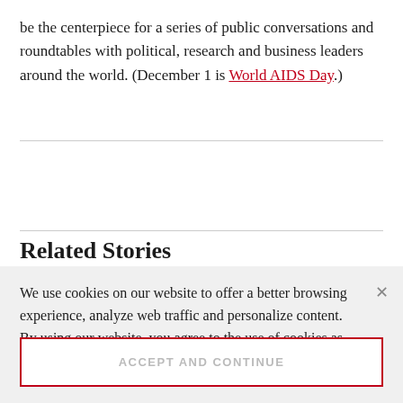be the centerpiece for a series of public conversations and roundtables with political, research and business leaders around the world. (December 1 is World AIDS Day.)
Related Stories
We use cookies on our website to offer a better browsing experience, analyze web traffic and personalize content. By using our website, you agree to the use of cookies as described in our Privacy policy.
ACCEPT AND CONTINUE